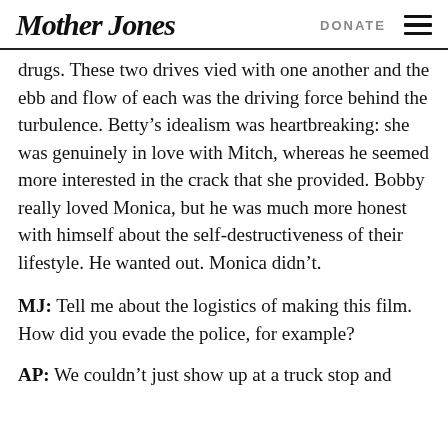Mother Jones   DONATE
drugs. These two drives vied with one another and the ebb and flow of each was the driving force behind the turbulence. Betty’s idealism was heartbreaking: she was genuinely in love with Mitch, whereas he seemed more interested in the crack that she provided. Bobby really loved Monica, but he was much more honest with himself about the self-destructiveness of their lifestyle. He wanted out. Monica didn’t.
MJ: Tell me about the logistics of making this film. How did you evade the police, for example?
AP: We couldn’t just show up at a truck stop and